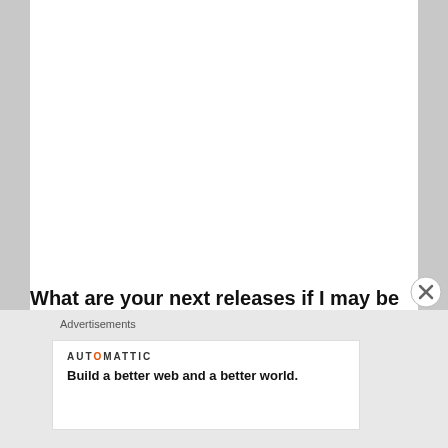[Figure (photo): Person wearing a black leather jacket over a graphic t-shirt with skull/dark art design, standing next to a white pillar or wall. Photo is cropped to show torso and mid-section only.]
What are your next releases if I may be so rude as to ask!
Advertisements
AUTOMATTIC
Build a better web and a better world.